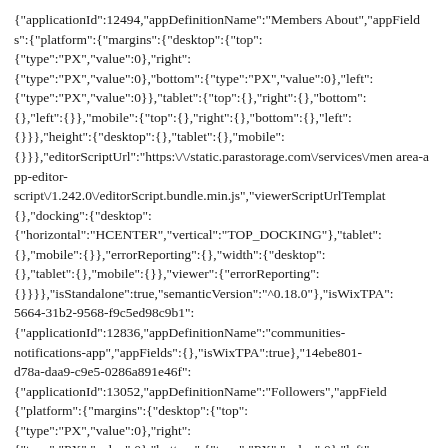{"applicationId":12494,"appDefinitionName":"Members About","appFields":{"platform":{"margins":{"desktop":{"top": {"type":"PX","value":0},"right": {"type":"PX","value":0},"bottom":{"type":"PX","value":0},"left": {"type":"PX","value":0}},"tablet":{"top":{},"right":{},"bottom": {},"left":{}},"mobile":{"top":{},"right":{},"bottom":{},"left": {}}},"height":{"desktop":{},"tablet":{},"mobile": {}}},"editorScriptUrl":"https:\/\/static.parastorage.com\/services\/men area-app-editor-script\/1.242.0\/editorScript.bundle.min.js","viewerScriptUrlTemplat {},"docking":{"desktop": {"horizontal":"HCENTER","vertical":"TOP_DOCKING"},"tablet": {},"mobile":{}},"errorReporting":{},"width":{"desktop": {},"tablet":{},"mobile":{}},"viewer":{"errorReporting": {}}}},"isStandalone":true,"semanticVersion":"^0.18.0"},"isWixTPA": 5664-31b2-9568-f9c5ed98c9b1": {"applicationId":12836,"appDefinitionName":"communities-notifications-app","appFields":{},"isWixTPA":true},"14ebe801-d78a-daa9-c9e5-0286a891e46f": {"applicationId":13052,"appDefinitionName":"Followers","appField {"platform":{"margins":{"desktop":{"top": {"type":"PX","value":0},"right": {"type":"PX","value":0},"bottom":{"type":"PX","value":0},"left": {"type":"PX","value":0}}},"editorScriptUrl":"https:\/\/static.parastor area-app-editor-